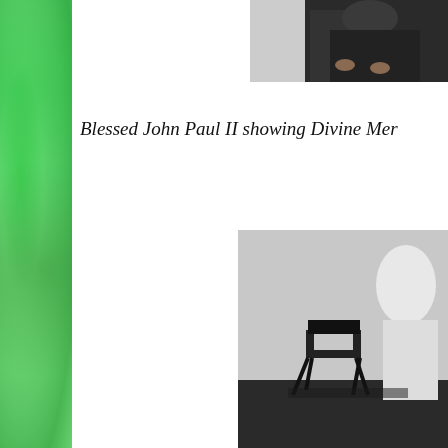[Figure (photo): Green textured sidebar on the left side of the page]
[Figure (photo): Black and white photo of a person in dark clothing, top right, partially cropped]
Blessed John Paul II showing Divine Mer
[Figure (photo): Black and white photo of a chair in a room, bottom right]